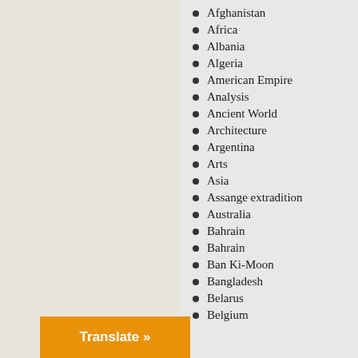Afghanistan
Africa
Albania
Algeria
American Empire
Analysis
Ancient World
Architecture
Argentina
Arts
Asia
Assange extradition
Australia
Bahrain
Bahrain
Ban Ki-Moon
Bangladesh
Belarus
Belgium